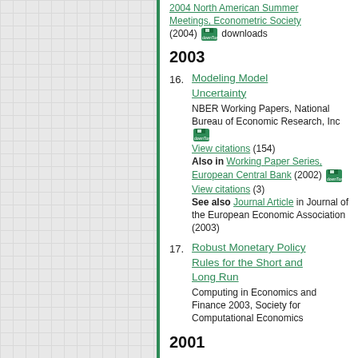[Figure (other): Left panel with grid/graph paper background and green border]
2004 North American Summer Meetings, Econometric Society (2004) downloads
2003
16. Modeling Model Uncertainty — NBER Working Papers, National Bureau of Economic Research, Inc downloads View citations (154) Also in Working Paper Series, European Central Bank (2002) downloads View citations (3) See also Journal Article in Journal of the European Economic Association (2003)
17. Robust Monetary Policy Rules for the Short and Long Run — Computing in Economics and Finance 2003, Society for Computational Economics
2001
18. Searching for Prosperity — NBER Working Papers, National Bureau of Economic